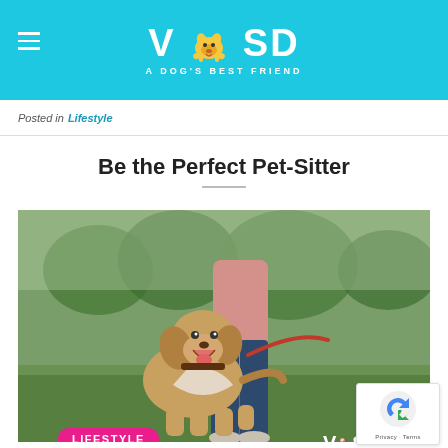VOSD - A DOG'S BEST FRIEND
Posted in Lifestyle
Be the Perfect Pet-Sitter
[Figure (photo): A woman walking a dog on a leash outdoors on grass. The dog, a golden/tan labrador-type with a white bandana, is looking up happily. The woman is wearing a pink top and dark jeans. Overlaid badges: LIFESTYLE (pink pill), date 09 Sep (white box), VOSD logo (top right).]